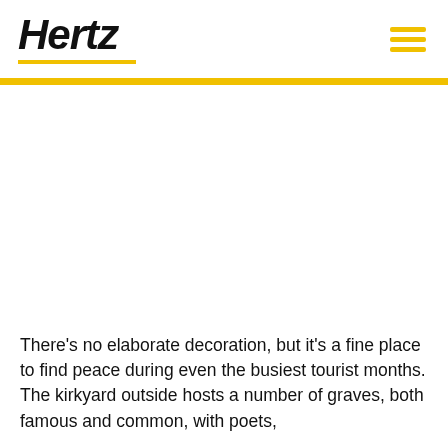Hertz
There's no elaborate decoration, but it's a fine place to find peace during even the busiest tourist months. The kirkyard outside hosts a number of graves, both famous and common, with poets,